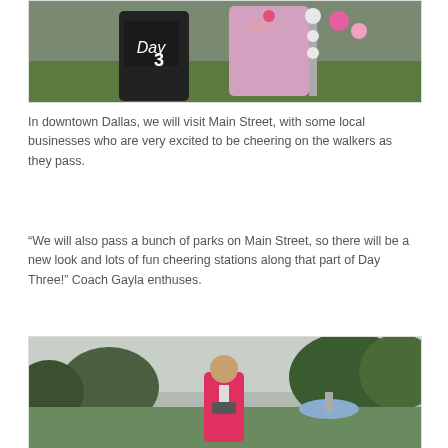[Figure (photo): Two women in pink breast cancer walk attire, one holding a chalkboard sign reading 'Day 3' and the other holding a decorated wand/staff, posing outdoors on grass.]
In downtown Dallas, we will visit Main Street, with some local businesses who are very excited to be cheering on the walkers as they pass.
“We will also pass a bunch of parks on Main Street, so there will be a new look and lots of fun cheering stations along that part of Day Three!” Coach Gayla enthuses.
[Figure (photo): A walker in a pink jacket standing in a park with a fountain and trees in the background, wearing a lanyard and binoculars.]